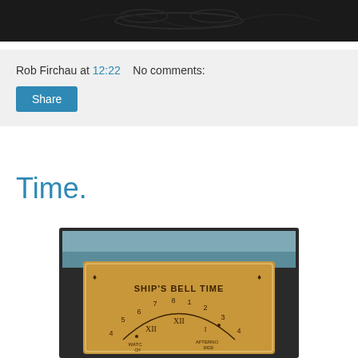[Figure (photo): Dark banner image with decorative pattern on black background]
Rob Firchau at 12:22    No comments:
Share
Time.
[Figure (photo): Photo of a Ship's Bell Time clock face/dial, showing numbers 1-8 and labels WATCH, AFTERNOON, MIDD on a golden/brass colored background inside a dark frame]